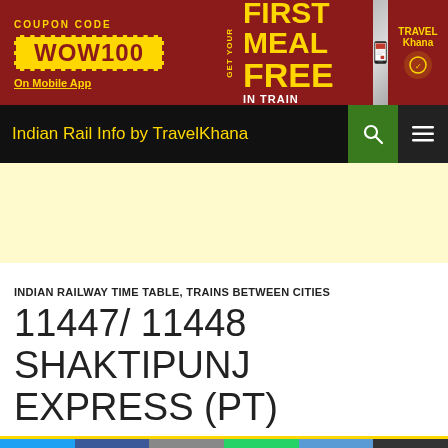[Figure (infographic): TravelKhana promotional banner: dark red background, coupon code WOW100 in yellow box, text GET YOUR FIRST MEAL FREE IN TRAIN, phone image on right]
Indian Rail Info by TravelKhana
[Figure (infographic): Yellow advertisement placeholder area]
INDIAN RAILWAY TIME TABLE, TRAINS BETWEEN CITIES
11447/ 11448 SHAKTIPUNJ EXPRESS (PT)
[Figure (infographic): Social sharing bar with Twitter, Facebook, Email, WhatsApp, SMS, and More buttons]